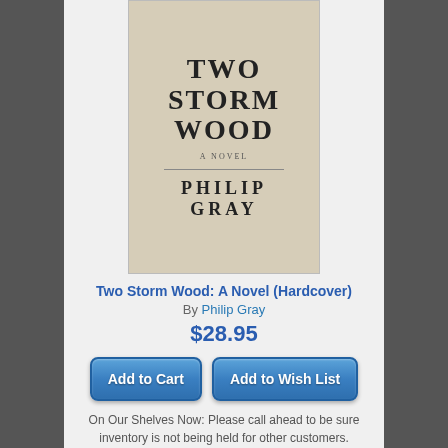[Figure (illustration): Book cover for 'Two Storm Wood: A Novel' by Philip Gray — beige/tan background with large serif title text and author name]
Two Storm Wood: A Novel (Hardcover)
By Philip Gray
$28.95
Add to Cart
Add to Wish List
On Our Shelves Now: Please call ahead to be sure inventory is not being held for other customers.
[Figure (illustration): Book cover for 'Cherry' paperback — dark header with CHERRY in large red letters, red dotted pattern below]
Cherry (Paperback)